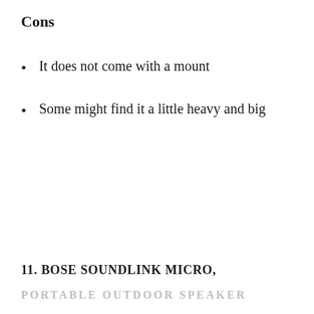Cons
It does not come with a mount
Some might find it a little heavy and big
11. BOSE SOUNDLINK MICRO,
PORTABLE OUTDOOR SPEAKER